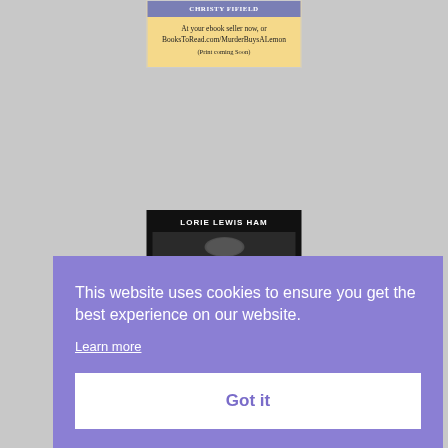[Figure (illustration): Book cover card with yellow/cream background showing author name 'CHRISTY FIFIELD' in a purple/blue bar at top, and text 'At your ebook seller now, or BooksToRead.com/MurderBuysALemon (Print coming Soon)']
[Figure (illustration): Book cover card with black background showing author name 'LORIE LEWIS HAM' in white bold text at top, with partial image of a person visible below]
This website uses cookies to ensure you get the best experience on our website.
Learn more
Got it